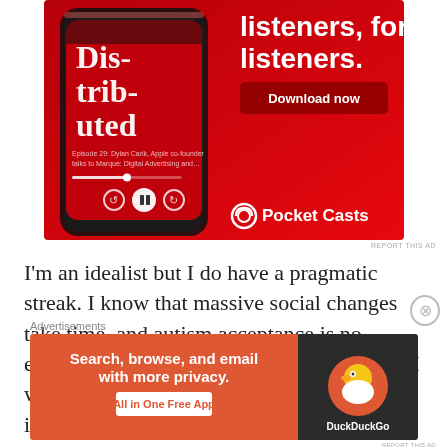[Figure (photo): Pocket Casts advertisement banner with a red background showing a smartphone with the podcast app open, displaying 'Dis-trib-uted' text, and 'listeners, for listeners.' headline with a 'Download now' button and Pocket Casts logo]
REPORT THIS AD
I'm an idealist but I do have a pragmatic streak. I know that massive social changes take time, and autism acceptance is no exception. Is Sesame Street a step forward? I would actually say yes, but only insofar as it is an opportunity to talk more, publicly,
Advertisements
[Figure (photo): DuckDuckGo advertisement with orange background on left side saying 'Search, browse, and email with more privacy. All in One Free App' and DuckDuckGo logo on dark right side]